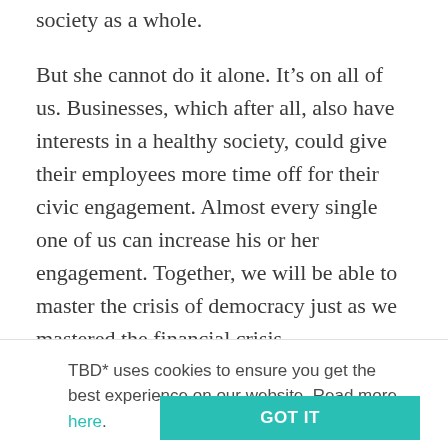society as a whole.
But she cannot do it alone. It’s on all of us. Businesses, which after all, also have interests in a healthy society, could give their employees more time off for their civic engagement. Almost every single one of us can increase his or her engagement. Together, we will be able to master the crisis of democracy just as we mastered the financial crisis.
This Op-Ed was first published by one of Germanys
TBD* uses cookies to ensure you get the best experience on our website. Read more here.